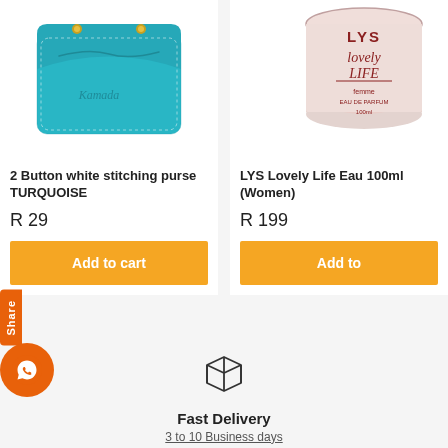[Figure (photo): Turquoise leather 2-button purse product photo]
[Figure (photo): LYS Lovely Life Eau de Parfum 100ml round tin/container product photo]
2 Button white stitching purse TURQUOISE
LYS Lovely Life Eau 100ml (Women)
R 29
R 199
Add to cart
Add to
Share
[Figure (illustration): Package/box delivery icon]
Fast Delivery
3 to 10 Business days